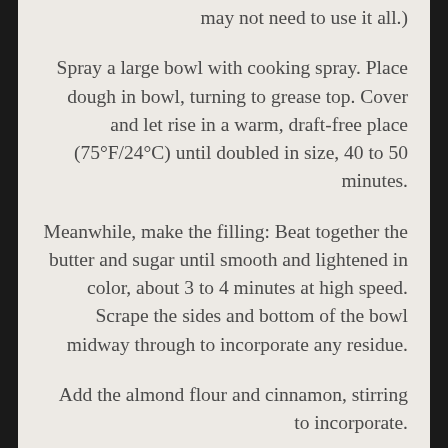may not need to use it all.)
Spray a large bowl with cooking spray. Place dough in bowl, turning to grease top. Cover and let rise in a warm, draft-free place (75°F/24°C) until doubled in size, 40 to 50 minutes.
Meanwhile, make the filling: Beat together the butter and sugar until smooth and lightened in color, about 3 to 4 minutes at high speed. Scrape the sides and bottom of the bowl midway through to incorporate any residue.
Add the almond flour and cinnamon, stirring to incorporate.
Add the 3 eggs and beat until smooth,